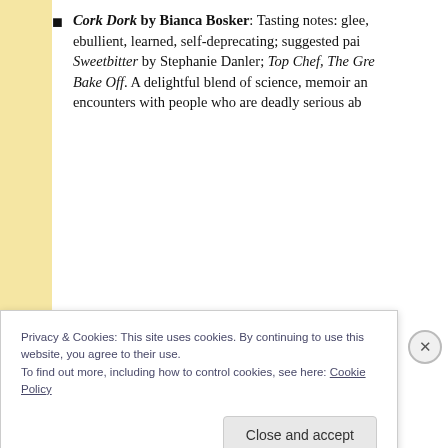Cork Dork by Bianca Bosker: Tasting notes: glee, ebullient, learned, self-deprecating; suggested pairing: Sweetbitter by Stephanie Danler; Top Chef, The Great British Bake Off. A delightful blend of science, memoir and encounters with people who are deadly serious ab
A Paris All Your Own: Bestselling Women Writers on the City of Light, edited by Eleanor Brown: A highly set of 18 autobiographical essays that celebrate wh
Privacy & Cookies: This site uses cookies. By continuing to use this website, you agree to their use.
To find out more, including how to control cookies, see here: Cookie Policy